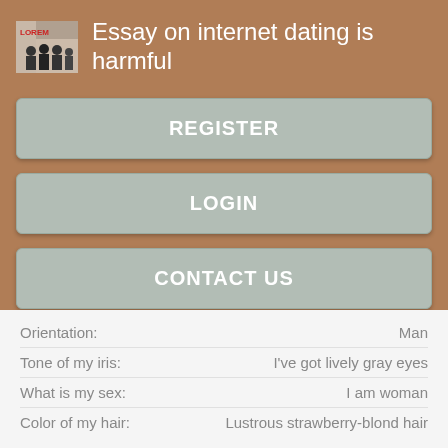Essay on internet dating is harmful
REGISTER
LOGIN
CONTACT US
| Field | Value |
| --- | --- |
| Orientation: | Man |
| Tone of my iris: | I've got lively gray eyes |
| What is my sex: | I am woman |
| Color of my hair: | Lustrous strawberry-blond hair |